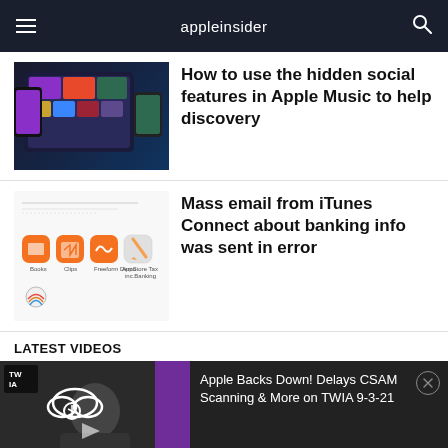appleinsider
How to use the hidden social features in Apple Music to help discovery
Mass email from iTunes Connect about banking info was sent in error
LATEST VIDEOS
Apple Backs Down! Delays CSAM Scanning & More on TWIA 9-3-21
[Figure (screenshot): Apple Music app screens on multiple Apple devices]
[Figure (screenshot): iTunes Connect screenshot with app icons including Books, Clips, Freeform icons and text]
[Figure (photo): Video thumbnail showing a man with a phone, cloud search icon overlay, TWIA and AppleInsider badge, Apple Delays CSAM Scanning label]